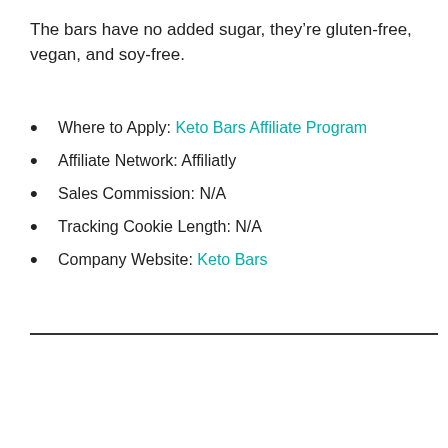The bars have no added sugar, they’re gluten-free, vegan, and soy-free.
Where to Apply: Keto Bars Affiliate Program
Affiliate Network: Affiliatly
Sales Commission: N/A
Tracking Cookie Length: N/A
Company Website: Keto Bars
[Figure (screenshot): Screenshot of the Ketogenic Girl website homepage showing navigation bar, two food/person images, and a headline 'Lose Weight & Gain Health with' in red text. A reCAPTCHA Privacy-Terms box appears in bottom-right corner.]